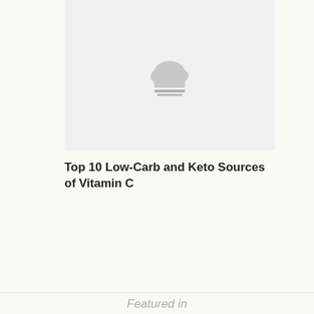[Figure (photo): Placeholder image with cloud/upload icon on light gray background]
Top 10 Low-Carb and Keto Sources of Vitamin C
Featured in